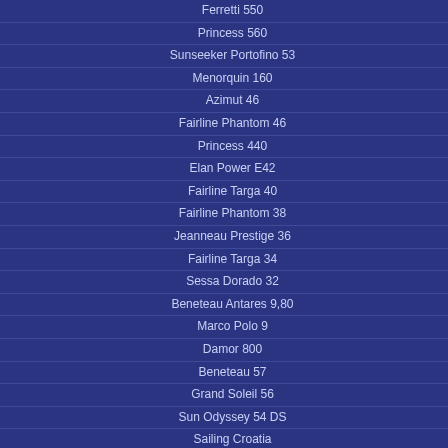Ferretti 550
Princess 560
Sunseeker Portofino 53
Menorquin 160
Azimut 46
Fairline Phantom 46
Princess 440
Elan Power E42
Fairline Targa 40
Fairline Phantom 38
Jeanneau Prestige 36
Fairline Targa 34
Sessa Dorado 32
Beneteau Antares 9,80
Marco Polo 9
Damor 800
Beneteau 57
Grand Soleil 56
Sun Odyssey 54 DS
Sailing Croatia
Elan 514 Impression
Gib Sea 51
Lagoon 500
Bavaria 51 Cruiser
Beneteau 50
Bavaria 50
Bavaria 49
Sun Odyssey 52.2
Sun Odyssey 49
Grand Soleil 50
Comfort pack PLUS: € 130.-/week (outdo...
Note:
* All extras should be ordered the latest 2... availability
** Early check in can be confirmed only o...
LOCATION
Das Boot ist im Hafen: Kastela
Note: The yacht particulars displayed in the m... believed to be correct are not guaranteed. All ... without warrantee. Exact pricing and yacht pa... your booking enquire.